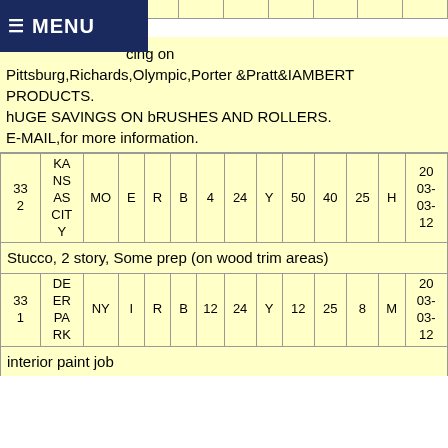cing on Pittsburg,Richards,Olympic,Porter &Pratt&IAMBERT PRODUCTS.
hUGE SAVINGS ON bRUSHES AND ROLLERS.
E-MAIL,for more information.
| 332 | KANSAS CITY | MO | E | R | B | 4 | 24 | Y | 50 | 40 | 25 | H | 2003-03-12 |
| Stucco, 2 story, Some prep (on wood trim areas) |
| 331 | DEER PARK | NY | I | R | B | 12 | 24 | Y | 12 | 25 | 8 | M | 2003-03-12 |
| interior paint job |